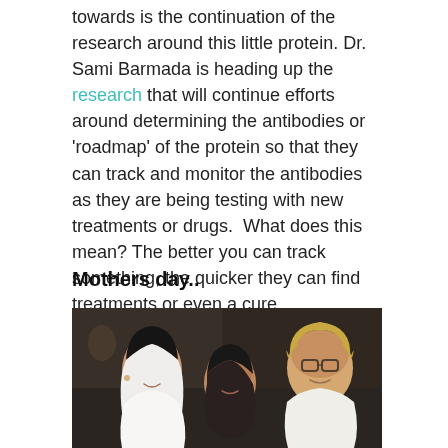towards is the continuation of the research around this little protein. Dr. Sami Barmada is heading up the research that will continue efforts around determining the antibodies or 'roadmap' of the protein so that they can track and monitor the antibodies as they are being testing with new treatments or drugs.  What does this mean? The better you can track something, the quicker they can find treatments or even a cure.
Mothers day..
[Figure (photo): A photograph of three women/girls smiling together. On the left is a young woman with long dark hair wearing a white top. In the middle is a young girl with glasses and dark hair. On the right is an older woman with short curly blonde/grey hair wearing a white top.]